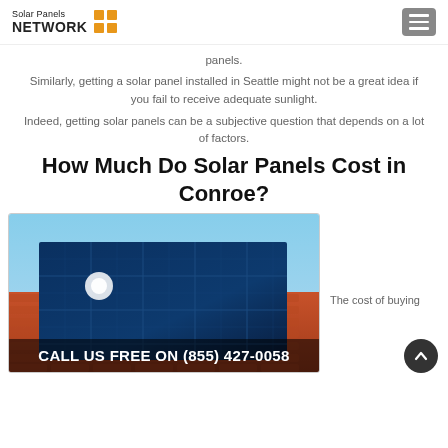Solar Panels NETWORK
panels.
Similarly, getting a solar panel installed in Seattle might not be a great idea if you fail to receive adequate sunlight.
Indeed, getting solar panels can be a subjective question that depends on a lot of factors.
How Much Do Solar Panels Cost in Conroe?
[Figure (photo): Solar panels installed on an orange tiled roof against a blue sky]
The cost of buying
CALL US FREE ON (855) 427-0058